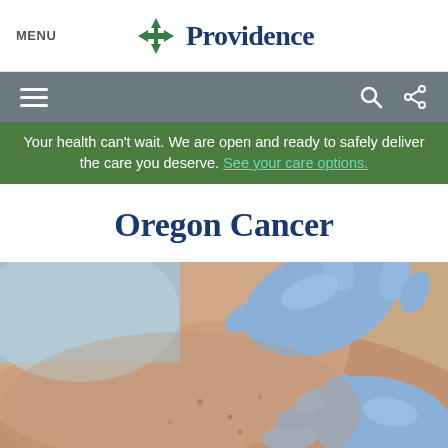MENU | Providence
Your health can't wait. We are open and ready to safely deliver the care you deserve. See your care options.
Oregon Cancer
[Figure (photo): Close-up photo of gloved hands (blue/purple medical gloves) examining a patient's skin on the back/shoulder area, showing skin with freckles or moles.]